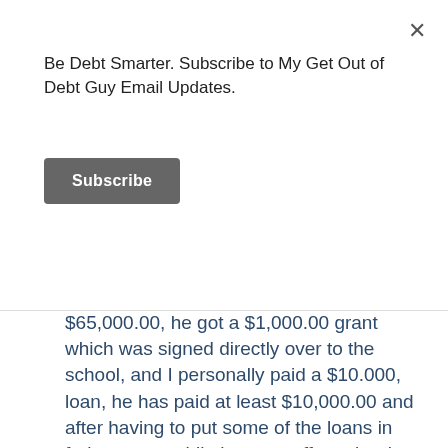Be Debt Smarter. Subscribe to My Get Out of Debt Guy Email Updates.
Subscribe
$65,000.00, he got a $1,000.00 grant which was signed directly over to the school, and I personally paid a $10.000, loan, he has paid at least $10,000.00 and after having to put some of the loans in forbearance while he pays off another loan he now has a total balance of $92,000.00. How is that even legal. when he first graduated college they wanted him to pay his loans back at